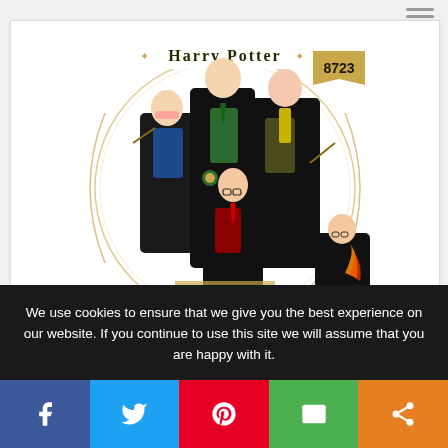[Figure (illustration): Simplicity sewing pattern #8723 for Harry Potter costumes showing multiple models wearing Hogwarts house robes in Slytherin (green), Hufflepuff (yellow), Ravenclaw (blue), and Gryffindor (red/gold) colors. Pattern number 8723 shown on a gold banner. Simplicity logo at bottom.]
We use cookies to ensure that we give you the best experience on our website. If you continue to use this site we will assume that you are happy with it.